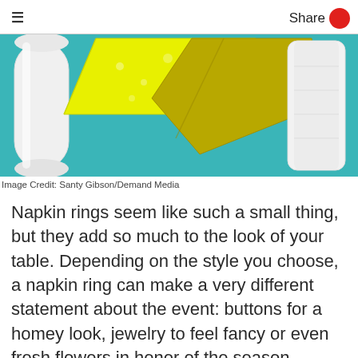≡   Share
[Figure (photo): Overhead photo of several folded napkins on a teal/turquoise fabric background. Napkins include white rolled napkins on the left and right, a bright yellow patterned napkin folded diagonally in the center-left, and an olive/mustard yellow square napkin folded in the center-right.]
Image Credit: Santy Gibson/Demand Media
Napkin rings seem like such a small thing, but they add so much to the look of your table. Depending on the style you choose, a napkin ring can make a very different statement about the event: buttons for a homey look, jewelry to feel fancy or even fresh flowers in honor of the season. Whether you're throwing a dinner party, decorating for a wedding, or just want your meals at home to feel a little bit special, napkin